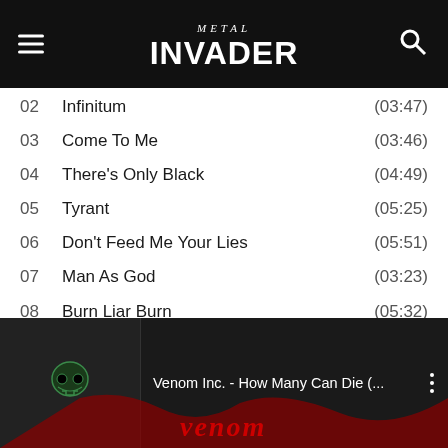Metal Invader
02  Infinitum  (03:47)
03  Come To Me  (03:46)
04  There's Only Black  (04:49)
05  Tyrant  (05:25)
06  Don't Feed Me Your Lies  (05:51)
07  Man As God  (03:23)
08  Burn Liar Burn  (05:32)
09  Nine  (03:34)
10  Rampant  (04:06)
11  The Dance  (04:54)
12  Inferno  (05:19)
[Figure (screenshot): YouTube video embed showing 'Venom Inc. - How Many Can Die (...' with skull logo thumbnail and red Venom text art]